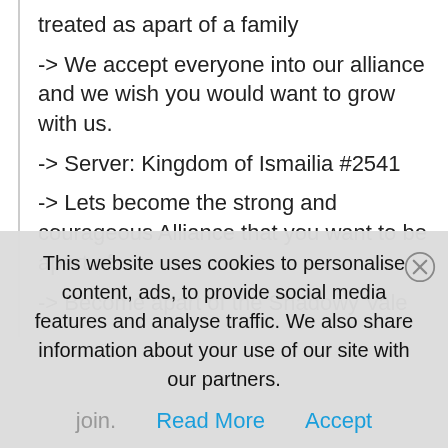treated as apart of a family
-> We accept everyone into our alliance and we wish you would want to grow with us.
-> Server: Kingdom of Ismailia #2541
-> Lets become the strong and courageous Alliance that you want to be apart of
-> Become apart of the Shadowy Vale
This website uses cookies to personalise content, ads, to provide social media features and analyse traffic. We also share information about your use of our site with our partners.
Read More   Accept